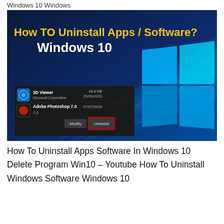Windows 10 Windows
[Figure (screenshot): YouTube thumbnail showing 'How TO Uninstall Apps / Software? Windows 10' with Windows logo background and a dark app list overlay showing 3D Viewer and Adobe Photoshop 7.0 with Modify and Uninstall buttons highlighted in red.]
How To Uninstall Apps Software In Windows 10 Delete Program Win10 – Youtube How To Uninstall Windows Software Windows 10